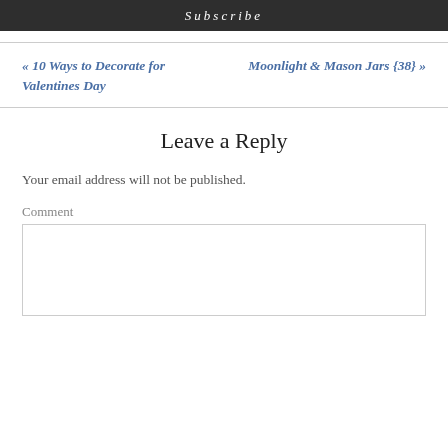Subscribe
« 10 Ways to Decorate for Valentines Day
Moonlight & Mason Jars {38} »
Leave a Reply
Your email address will not be published.
Comment